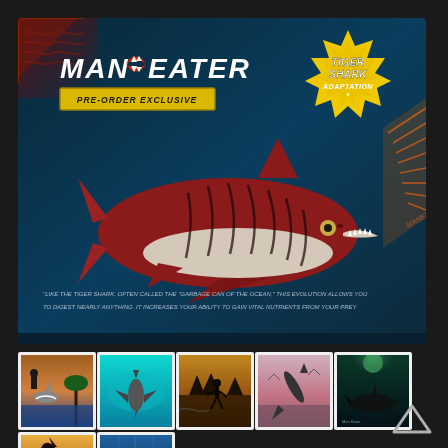[Figure (screenshot): Maneater game promotional banner featuring Tiger Shark Adaptation pre-order exclusive. Shows a tiger shark with red and dark stripe markings on dark blue ocean background. MAN EATER logo top left, PRE-ORDER EXCLUSIVE badge in yellow, Tiger Shark Adaptation starburst badge top right.]
"LIKE THE TIGER SHARK, OFTEN CALLED THE "GARBAGE CAN OF THE OCEAN," THIS EVOLUTION ALLOWS YOU TO DIGEST NEARLY ANYTHING. IT INCREASES YOUR ABILITY TO GAIN VITAL NUTRIENTS FROM YOUR PREY.
[Figure (screenshot): Thumbnail 1: Shark jumping at a person on a beach, tropical setting with palm trees, warm tones.]
[Figure (screenshot): Thumbnail 2: Shark viewed from above in teal water, hammerhead style.]
[Figure (screenshot): Thumbnail 3: Silhouette of person running with shark in background, golden/amber tones.]
[Figure (screenshot): Thumbnail 4: Shark leaping out of pinkish-hued water at dusk.]
[Figure (screenshot): Thumbnail 5: Dark underwater scene, shark silhouette against green glowing light from above.]
[Figure (screenshot): Thumbnail 6: Shark leaping from shimmering water into the sky, dramatic sunset.]
[Figure (screenshot): Thumbnail 7: Large shark underwater in blue-green tones, viewed from below.]